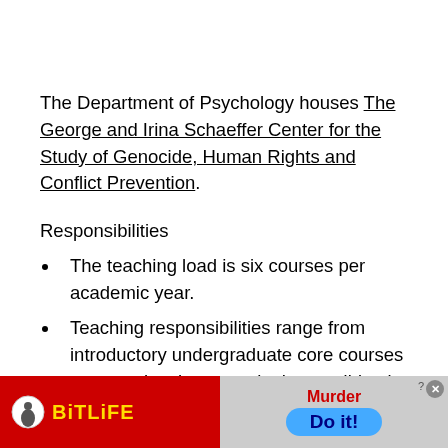The Department of Psychology houses The George and Irina Schaeffer Center for the Study of Genocide, Human Rights and Conflict Prevention.
Responsibilities
The teaching load is six courses per academic year.
Teaching responsibilities range from introductory undergraduate core courses to upper-level courses in the candidate's research area that could also serve graduate and doctoral
[Figure (other): Advertisement banner for BitLife game showing red background with yellow BitLife logo on left, and 'Murder Do it!' text with close button on right]